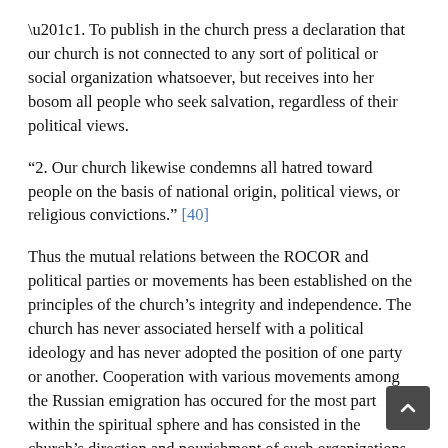“1. To publish in the church press a declaration that our church is not connected to any sort of political or social organization whatsoever, but receives into her bosom all people who seek salvation, regardless of their political views.
“2. Our church likewise condemns all hatred toward people on the basis of national origin, political views, or religious convictions.” [40]
Thus the mutual relations between the ROCOR and political parties or movements has been established on the principles of the church’s integrity and independence. The church has never associated herself with a political ideology and has never adopted the position of one party or another. Cooperation with various movements among the Russian emigration has occured for the most part within the spiritual sphere and has consisted in the church’s direction and nourishment of such organizations as have sought th from the church.